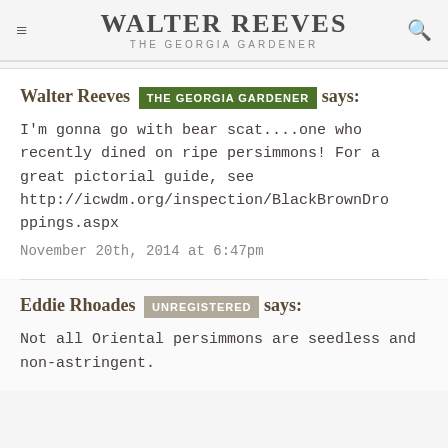Walter Reeves The Georgia Gardener
Walter Reeves THE GEORGIA GARDENER says:
I'm gonna go with bear scat....one who recently dined on ripe persimmons! For a great pictorial guide, see http://icwdm.org/inspection/BlackBrownDroppings.aspx
November 20th, 2014 at 6:47pm
Eddie Rhoades UNREGISTERED says:
Not all Oriental persimmons are seedless and non-astringent.